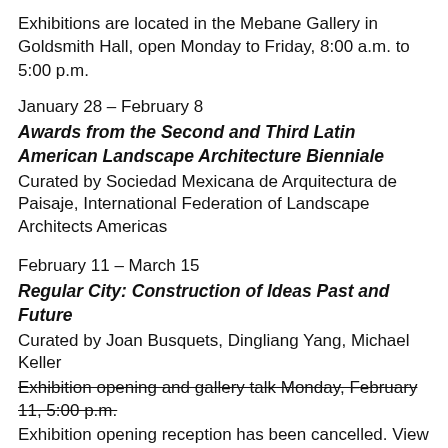Exhibitions are located in the Mebane Gallery in Goldsmith Hall, open Monday to Friday, 8:00 a.m. to 5:00 p.m.
January 28 – February 8
Awards from the Second and Third Latin American Landscape Architecture Bienniale
Curated by Sociedad Mexicana de Arquitectura de Paisaje, International Federation of Landscape Architects Americas
February 11 – March 15
Regular City: Construction of Ideas Past and Future
Curated by Joan Busquets, Dingliang Yang, Michael Keller
Exhibition opening and gallery talk Monday, February 11, 5:00 p.m. [strikethrough]
Exhibition opening reception has been cancelled. View the exhibition beginning February 12 at 8:00am.